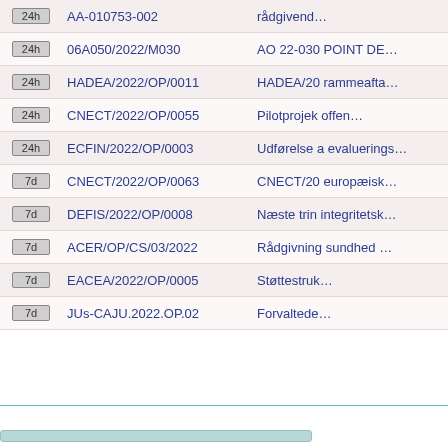|  | Reference | Description |
| --- | --- | --- |
| 24h | AA-010753-002 | rådgivend… |
| 24h | 06A050/2022/M030 | AO 22-030 POINT DE… |
| 24h | HADEA/2022/OP/0011 | HADEA/20 rammeafta… |
| 24h | CNECT/2022/OP/0055 | Pilotprojek offen… |
| 24h | ECFIN/2022/OP/0003 | Udførelse a evaluerings… |
| 7d | CNECT/2022/OP/0063 | CNECT/20 europæisk… |
| 7d | DEFIS/2022/OP/0008 | Næste trin integritetsk… |
| 7d | ACER/OP/CS/03/2022 | Rådgivning sundhed … |
| 7d | EACEA/2022/OP/0005 | Støttestruk… |
| 7d | JUs-CAJU.2022.OP.02 | Forvaltede… |